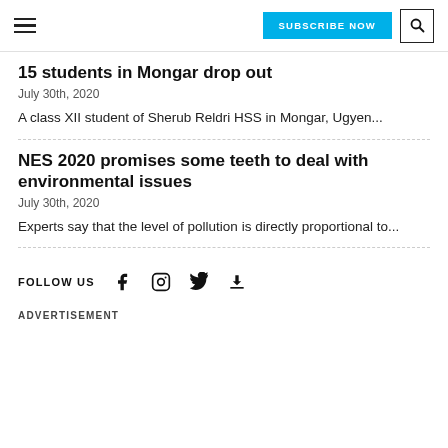SUBSCRIBE NOW [search icon]
15 students in Mongar drop out
July 30th, 2020
A class XII student of Sherub Reldri HSS in Mongar, Ugyen...
NES 2020 promises some teeth to deal with environmental issues
July 30th, 2020
Experts say that the level of pollution is directly proportional to...
FOLLOW US
ADVERTISEMENT